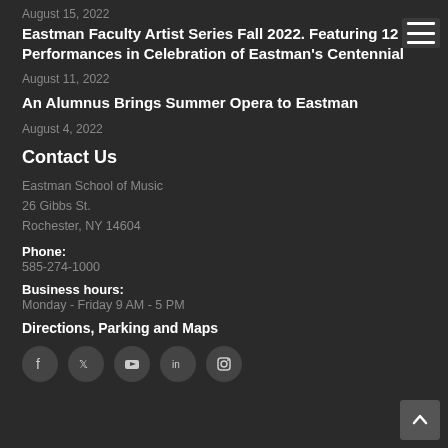August 15, 2022
Eastman Faculty Artist Series Fall 2022. Featuring 12 Performances in Celebration of Eastman's Centennial
August 11, 2022
An Alumnus Brings Summer Opera to Eastman
August 4, 2022
Contact Us
Eastman School of Music
26 Gibbs St.
Rochester, NY 14604
Phone:
585-274-1000
Business hours:
Monday - Friday 9 AM - 5 PM
Directions, Parking and Maps